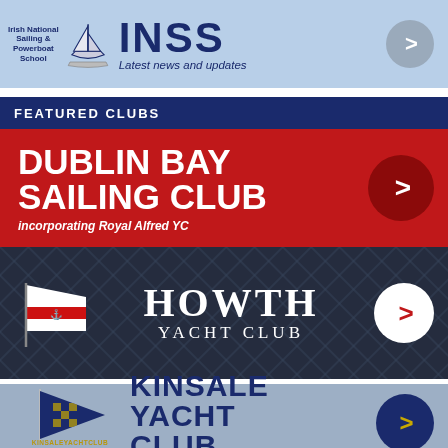[Figure (logo): INSS (Irish National Sailing & Powerboat School) banner with logo, text 'INSS Latest news and updates' and a right-arrow button on light blue background]
FEATURED CLUBS
[Figure (logo): Dublin Bay Sailing Club banner - red background with bold white text 'DUBLIN BAY SAILING CLUB incorporating Royal Alfred YC' and right-arrow button]
[Figure (logo): Howth Yacht Club banner - dark navy background with pennant flag, text 'HOWTH YACHT CLUB' in white and right-arrow button]
[Figure (logo): Kinsale Yacht Club banner - grey-blue background with pennant flag logo, text 'KINSALE YACHT CLUB' in navy and right-arrow button]